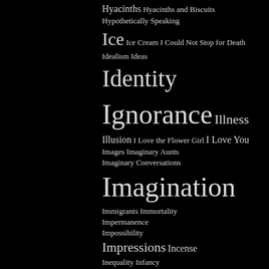Hyacinths Hyacinths and Biscuits Hypothetically Speaking Ice Ice Cream I Could Not Stop for Death Idealism Ideas Identity Ignorance Illness Illusion I Love the Flower Girl I Love You Images Imaginary Aunts Imaginary Conversations Imagination Immigrants Immortality Impermanence Impossibility Impressions Incense Inequality Infancy Injustice Ink and Pen Innocence Insanity Insects Insights Inspiration Intelligence